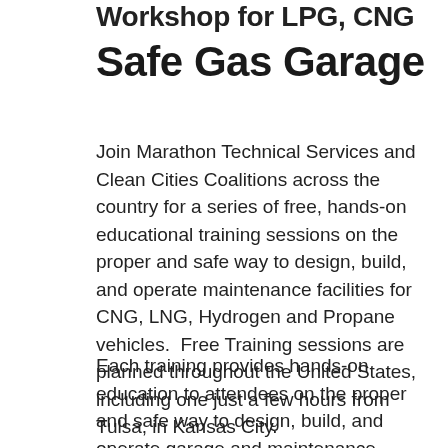Workshop for LPG, CNG Safe Gas Garage
Join Marathon Technical Services and Clean Cities Coalitions across the country for a series of free, hands-on educational training sessions on the proper and safe way to design, build, and operate maintenance facilities for CNG, LNG, Hydrogen and Propane vehicles.  Free Training sessions are planned throughout the United States, including one just a few hours from Tulsa, in Kansas City.
Each training provides hands-on education to attendees on the proper and safe way to design, build, and operate garage and maintenance facilities for alternative fuel vehicles (AFVs).